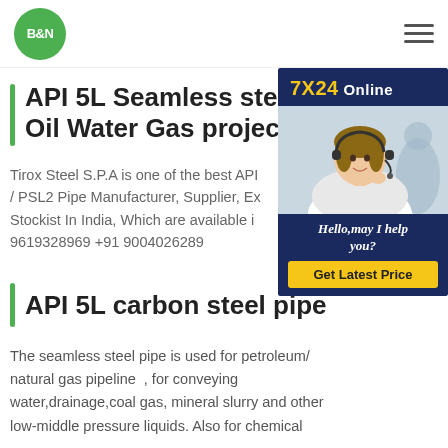[Figure (logo): B&N logo in green circle]
API 5L Seamless steel pipe Oil Water Gas projects
[Figure (photo): 7X24 Online customer service representative with headset smiling. Hello, may I help you? Get Latest Price button.]
Tirox Steel S.P.A is one of the best API / PSL2 Pipe Manufacturer, Supplier, Ex Stockist In India, Which are available i 9619328969 +91 9004026289
API 5L carbon steel pipe
The seamless steel pipe is used for petroleum/ natural gas pipeline , for conveying water,drainage,coal gas, mineral slurry and other low-middle pressure liquids. Also for chemical